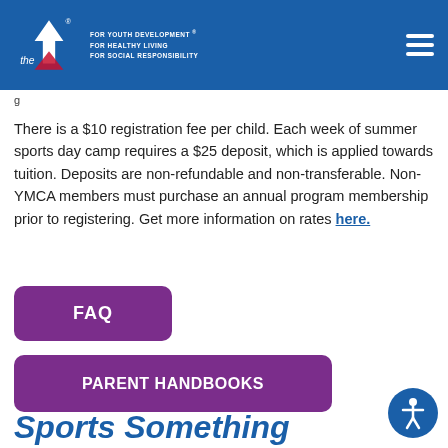the YMCA — FOR YOUTH DEVELOPMENT® FOR HEALTHY LIVING FOR SOCIAL RESPONSIBILITY
g
There is a $10 registration fee per child. Each week of summer sports day camp requires a $25 deposit, which is applied towards tuition. Deposits are non-refundable and non-transferable. Non-YMCA members must purchase an annual program membership prior to registering. Get more information on rates here.
FAQ
PARENT HANDBOOKS
Sports Something...